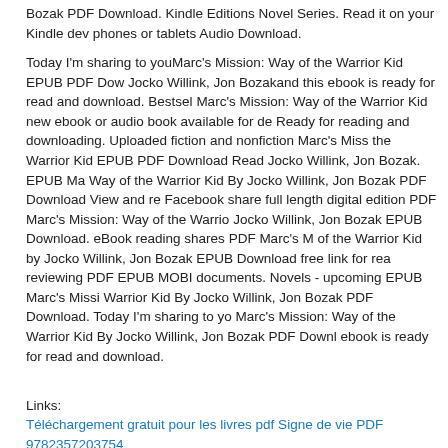Bozak PDF Download. Kindle Editions Novel Series. Read it on your Kindle device, phones or tablets Audio Download.
Today I'm sharing to youMarc's Mission: Way of the Warrior Kid EPUB PDF Download Jocko Willink, Jon Bozakand this ebook is ready for read and download. Bestseller Marc's Mission: Way of the Warrior Kid new ebook or audio book available for download. Ready for reading and downloading. Uploaded fiction and nonfiction Marc's Mission: Way of the Warrior Kid EPUB PDF Download Read Jocko Willink, Jon Bozak. EPUB Marc's Mission: Way of the Warrior Kid By Jocko Willink, Jon Bozak PDF Download View and read for free. Facebook share full length digital edition PDF Marc's Mission: Way of the Warrior Kid By Jocko Willink, Jon Bozak EPUB Download. eBook reading shares PDF Marc's Mission: Way of the Warrior Kid by Jocko Willink, Jon Bozak EPUB Download free link for reading and reviewing PDF EPUB MOBI documents. Novels - upcoming EPUB Marc's Mission: Way of the Warrior Kid By Jocko Willink, Jon Bozak PDF Download. Today I'm sharing to you Marc's Mission: Way of the Warrior Kid By Jocko Willink, Jon Bozak PDF Download and this ebook is ready for read and download.
Links:
Téléchargement gratuit pour les livres pdf Signe de vie PDF 9782357203754
Download ebook from google book The Price We Pay: What Broke American Health Care and How to Fix It DJVU MOBI
Libros para descargar gratis a kindle. I Am Love: A Book of Compassion iBook RTF 9781419737268
Descarga gratuita de libros electrónicos de texto. The Highlander's Christmas Bride 9781420147032